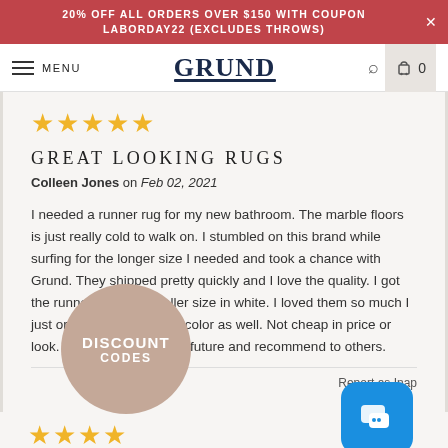20% OFF ALL ORDERS OVER $150 WITH COUPON LABORDAY22 (EXCLUDES THROWS)
MENU | GRUND | Search | Cart 0
★★★★★
GREAT LOOKING RUGS
Colleen Jones on Feb 02, 2021
I needed a runner rug for my new bathroom. The marble floors is just really cold to walk on. I stumbled on this brand while surfing for the longer size I needed and took a chance with Grund. They shipped pretty quickly and I love the quality. I got the runner and the smaller size in white. I loved them so much I just ordered in the darker color as well. Not cheap in price or look. I will buy more in the future and recommend to others.
Report as Inap...
★★★★